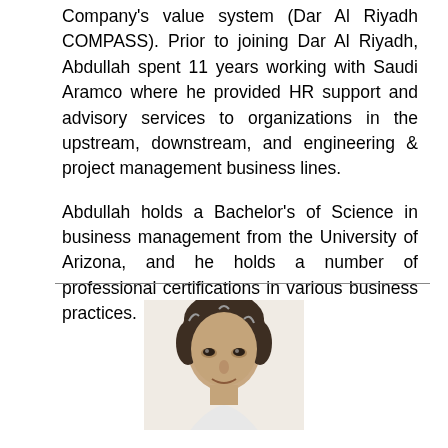Company's value system (Dar Al Riyadh COMPASS). Prior to joining Dar Al Riyadh, Abdullah spent 11 years working with Saudi Aramco where he provided HR support and advisory services to organizations in the upstream, downstream, and engineering & project management business lines.
Abdullah holds a Bachelor's of Science in business management from the University of Arizona, and he holds a number of professional certifications in various business practices.
[Figure (photo): Headshot photo of a man with dark hair, cropped at the bottom of the page]